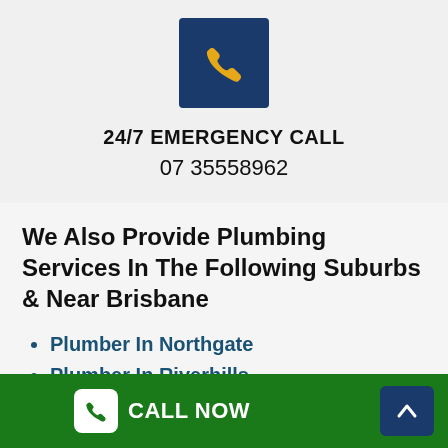[Figure (logo): Dark blue square icon with a yellow phone/handset symbol]
24/7 EMERGENCY CALL
07 35558962
We Also Provide Plumbing Services In The Following Suburbs & Near Brisbane
Plumber In Northgate
Plumber In Riverhills
Plumber In Ransome
Plumber In Kagaru
Plumber In Daisy Hill
CALL NOW